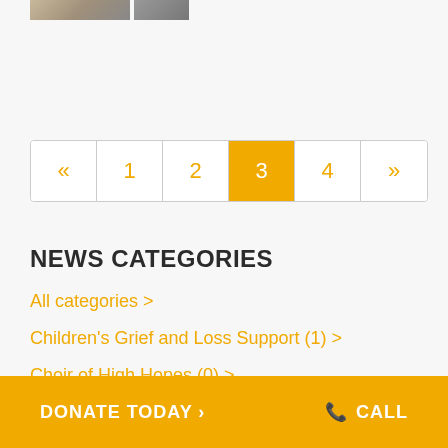[Figure (photo): Two thumbnail images at the top of the page]
« 1 2 3 4 »
NEWS CATEGORIES
All categories >
Children's Grief and Loss Support (1) >
Choir of High Hopes (0) >
DONATE TODAY > CALL